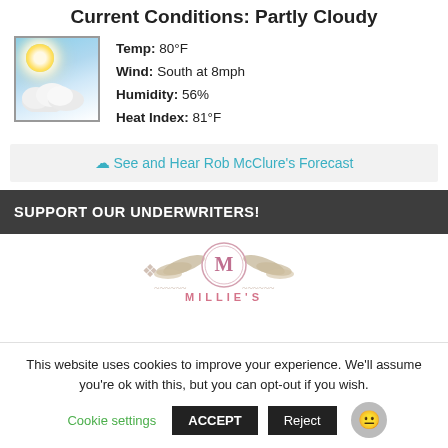Current Conditions: Partly Cloudy
[Figure (illustration): Partly cloudy weather icon showing sun with clouds on a blue sky background]
Temp: 80°F
Wind: South at 8mph
Humidity: 56%
Heat Index: 81°F
See and Hear Rob McClure's Forecast
SUPPORT OUR UNDERWRITERS!
[Figure (logo): Millie's logo with ornate decorative wings and M monogram]
This website uses cookies to improve your experience. We'll assume you're ok with this, but you can opt-out if you wish.
Cookie settings   ACCEPT   Reject